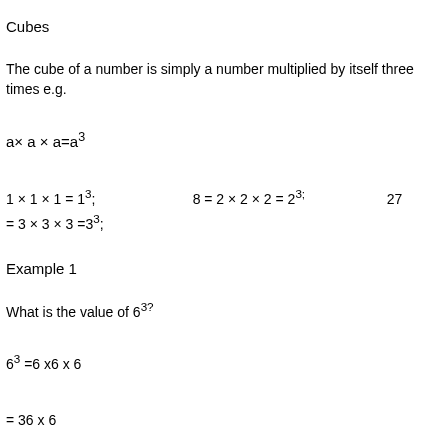Cubes
The cube of a number is simply a number multiplied by itself three times e.g.
Example 1
What is the value of 6^3?